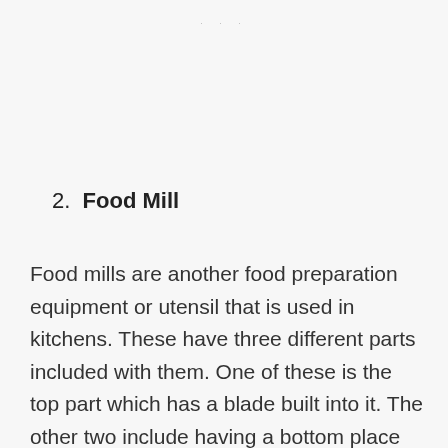· · ·
2. Food Mill
Food mills are another food preparation equipment or utensil that is used in kitchens. These have three different parts included with them. One of these is the top part which has a blade built into it. The other two include having a bottom place with holes and lastly the bowl. The way this works is that your ingredients are